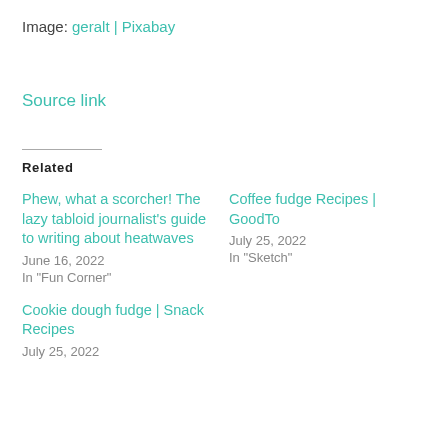Image: geralt | Pixabay
Source link
Related
Phew, what a scorcher! The lazy tabloid journalist's guide to writing about heatwaves
June 16, 2022
In "Fun Corner"
Coffee fudge Recipes | GoodTo
July 25, 2022
In "Sketch"
Cookie dough fudge | Snack Recipes
July 25, 2022